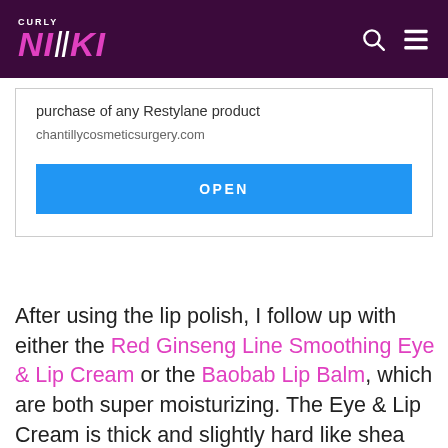Curly Nikki
purchase of any Restylane product
chantillycosmeticsurgery.com
OPEN
After using the lip polish, I follow up with either the Red Ginseng Line Smoothing Eye & Lip Cream or the Baobab Lip Balm, which are both super moisturizing. The Eye & Lip Cream is thick and slightly hard like shea butter, but melts as soon as it touches your skin. For me, the Baobab Lip Balm is the perfect